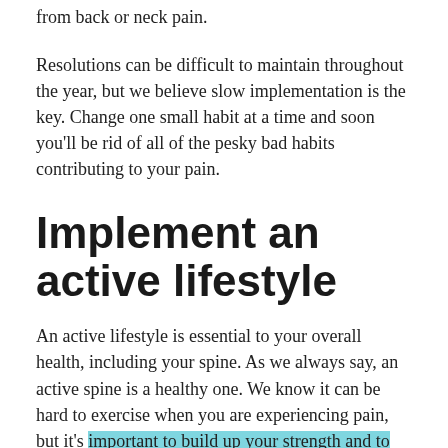from back or neck pain.
Resolutions can be difficult to maintain throughout the year, but we believe slow implementation is the key. Change one small habit at a time and soon you'll be rid of all of the pesky bad habits contributing to your pain.
Implement an active lifestyle
An active lifestyle is essential to your overall health, including your spine. As we always say, an active spine is a healthy one. We know it can be hard to exercise when you are experiencing pain, but it's important to build up your strength and to stretch on a daily basis.
This year we're encouraging you to ditch all of the